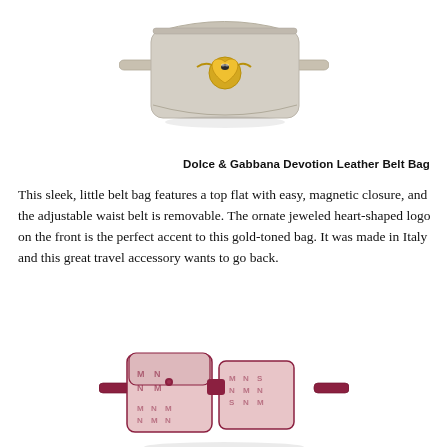[Figure (photo): Dolce & Gabbana Devotion Leather Belt Bag in silver/gold-toned leather with gold jeweled heart-shaped logo clasp and adjustable waist belt, viewed from front angle]
Dolce & Gabbana Devotion Leather Belt Bag
This sleek, little belt bag features a top flat with easy, magnetic closure, and the adjustable waist belt is removable. The ornate jeweled heart-shaped logo on the front is the perfect accent to this gold-toned bag. It was made in Italy and this great travel accessory wants to go back.
[Figure (photo): A pink monogram-patterned belt bag with dark maroon/burgundy trim and straps, featuring multiple compartments, partially cropped at bottom of page]